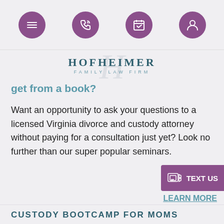[Figure (screenshot): Navigation bar with menu, phone, calendar, and profile icons on purple circular backgrounds]
[Figure (logo): Hofheimer Family Law Firm logo with stylized script H and teal text]
get from a book?
Want an opportunity to ask your questions to a licensed Virginia divorce and custody attorney without paying for a consultation just yet? Look no further than our super popular seminars.
LEARN MORE
CUSTODY BOOTCAMP FOR MOMS